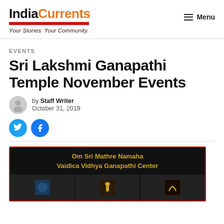IndiaCurrents — Your Stories. Your Community.
EVENTS
Sri Lakshmi Ganapathi Temple November Events
by Staff Writer
October 31, 2019
[Figure (logo): Twitter and Facebook share buttons (circular blue icons)]
[Figure (other): Temple event banner with text 'Om Sri Mathre Namaha / Vaidica Vidhya Ganapathi Center' in golden text on black background, with three image thumbnails below]